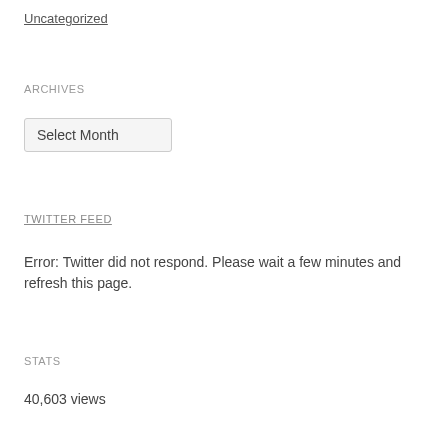Uncategorized
ARCHIVES
Select Month
TWITTER FEED
Error: Twitter did not respond. Please wait a few minutes and refresh this page.
STATS
40,603 views